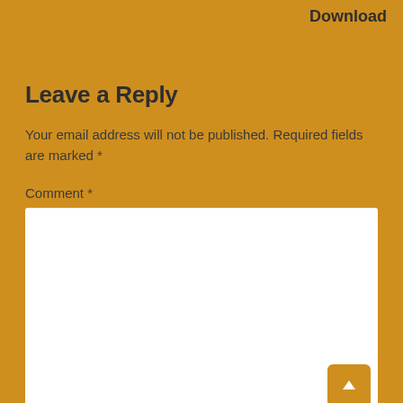Download
Leave a Reply
Your email address will not be published. Required fields are marked *
Comment *
Name *